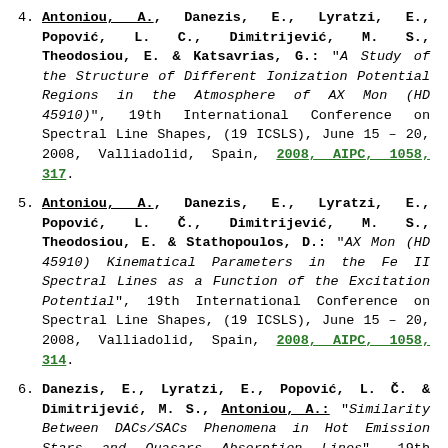4. Antoniou, A., Danezis, E., Lyratzi, E., Popović, L. C., Dimitrijević, M. S., Theodosiou, E. & Katsavrias, G.: "A Study of the Structure of Different Ionization Potential Regions in the Atmosphere of AX Mon (HD 45910)", 19th International Conference on Spectral Line Shapes, (19 ICSLS), June 15 – 20, 2008, Valliadolid, Spain, 2008, AIPC, 1058, 317.
5. Antoniou, A., Danezis, E., Lyratzi, E., Popović, L. Č., Dimitrijević, M. S., Theodosiou, E. & Stathopoulos, D.: "AX Mon (HD 45910) Kinematical Parameters in the Fe II Spectral Lines as a Function of the Excitation Potential", 19th International Conference on Spectral Line Shapes, (19 ICSLS), June 15 – 20, 2008, Valliadolid, Spain, 2008, AIPC, 1058, 314.
6. Danezis, E., Lyratzi, E., Popović, L. Č. & Dimitrijević, M. S., Antoniou, A.: "Similarity Between DACs/SACs Phenomena in Hot Emission Stars and Quasars Absorption Lines", 19th International Conference on Spectral Line Shapes, (19 ICSLS), June